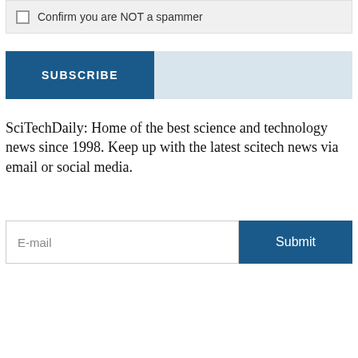Confirm you are NOT a spammer
SUBSCRIBE
SciTechDaily: Home of the best science and technology news since 1998. Keep up with the latest scitech news via email or social media.
E-mail
Submit